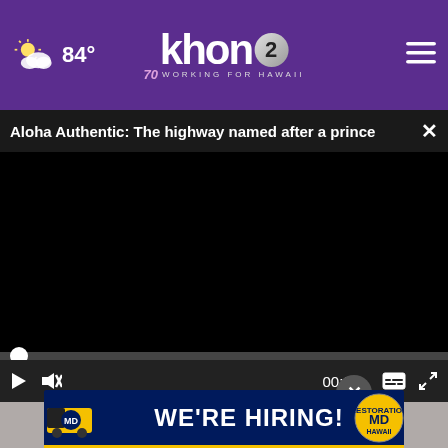84° khon2 WORKING FOR HAWAII
Aloha Authentic: The highway named after a prince
[Figure (screenshot): Video player with black screen, progress bar, and controls showing 00:00]
[Figure (photo): Photo of feet/legs visible below video player]
[Figure (infographic): Advertisement banner: WE'RE HIRING! APPLY TODAY with Restoration Hawaii MD logo]